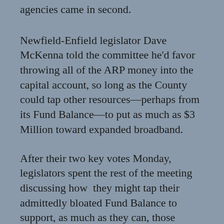agencies came in second.
Newfield-Enfield legislator Dave McKenna told the committee he'd favor throwing all of the ARP money into the capital account, so long as the County could tap other resources—perhaps from its Fund Balance—to put as much as $3 Million toward expanded broadband.
After their two key votes Monday, legislators spent the rest of the meeting discussing how they might tap their admittedly bloated Fund Balance to support, as much as they can, those human needs lawmakers like Schill want addressed. Wanting firmer Fund Balance figures first, they delayed any recommendation that would carry a dollar figure.